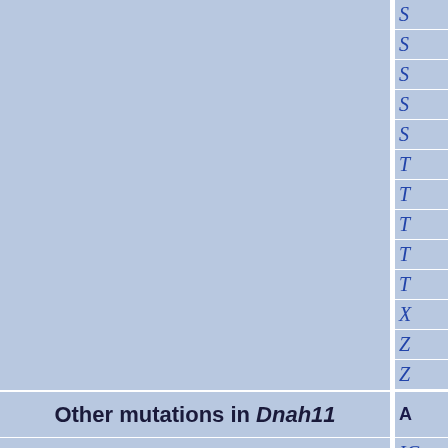|  | Gene/entry |
| --- | --- |
|  | S... |
|  | S... |
|  | S... |
|  | S... |
|  | S... |
|  | T... |
|  | T... |
|  | T... |
|  | T... |
|  | T... |
|  | X... |
|  | Z... |
|  | Z... |
| Other mutations in Dnah11 | A... |
|  | IC... |
|  | K... |